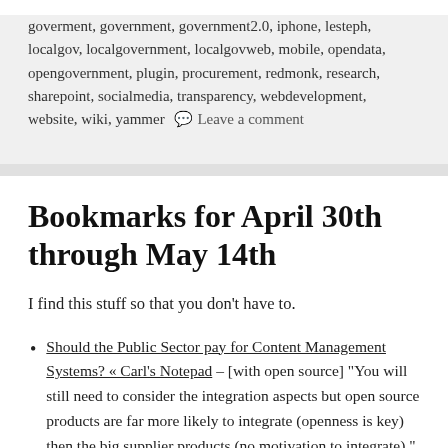goverment, government, government2.0, iphone, lesteph, localgov, localgovernment, localgovweb, mobile, opendata, opengovernment, plugin, procurement, redmonk, research, sharepoint, socialmedia, transparency, webdevelopment, website, wiki, yammer   Leave a comment
Bookmarks for April 30th through May 14th
I find this stuff so that you don't have to.
Should the Public Sector pay for Content Management Systems? « Carl's Notepad – [with open source] "You will still need to consider the integration aspects but open source products are far more likely to integrate (openness is key) then the big supplier products (no motivation to integrate)."